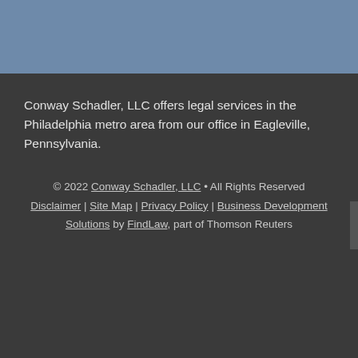Conway Schadler, LLC offers legal services in the Philadelphia metro area from our office in Eagleville, Pennsylvania.
© 2022 Conway Schadler, LLC • All Rights Reserved Disclaimer | Site Map | Privacy Policy | Business Development Solutions by FindLaw, part of Thomson Reuters